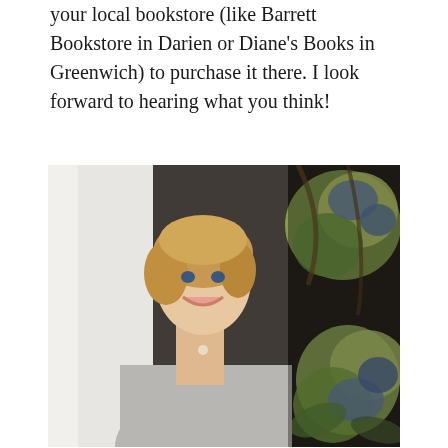your local bookstore (like Barrett Bookstore in Darien or Diane's Books in Greenwich) to purchase it there. I look forward to hearing what you think!
[Figure (photo): A smiling woman with short blonde hair wearing a light grey turtleneck sweater, standing in front of a dark door with a decorative floral wreath with blue and yellow-green hydrangeas.]